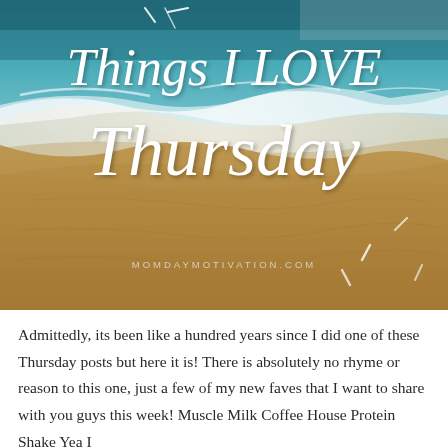[Figure (photo): Aerial view of a sandy beach with turquoise ocean waves meeting the shore, featuring overlaid white handwritten-style text 'Things I LOVE Thursday' and website URL 'MOMDAYMOTIVATION.COM']
Admittedly, its been like a hundred years since I did one of these Thursday posts but here it is! There is absolutely no rhyme or reason to this one, just a few of my new faves that I want to share with you guys this week! Muscle Milk Coffee House Protein Shake Yea I